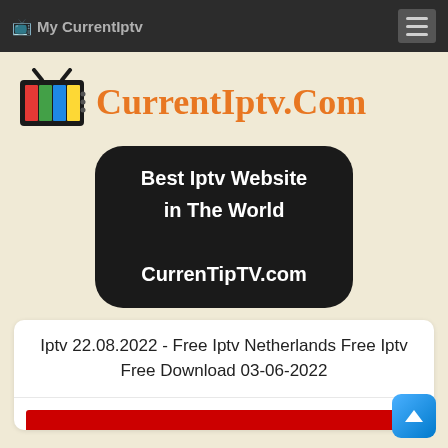My CurrentIptv
[Figure (logo): CurrentIptv.Com website logo with TV icon and orange text]
[Figure (infographic): Black rounded rectangle badge reading: Best Iptv Website in The World CurrenTipTV.com]
Iptv 22.08.2022 - Free Iptv Netherlands Free Iptv Free Download 03-06-2022
[Figure (other): Red bar at bottom of card (partially visible)]